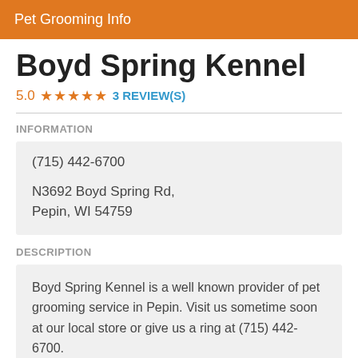Pet Grooming Info
Boyd Spring Kennel
5.0 ★★★★★ 3 REVIEW(S)
INFORMATION
(715) 442-6700
N3692 Boyd Spring Rd,
Pepin, WI 54759
DESCRIPTION
Boyd Spring Kennel is a well known provider of pet grooming service in Pepin. Visit us sometime soon at our local store or give us a ring at (715) 442-6700.